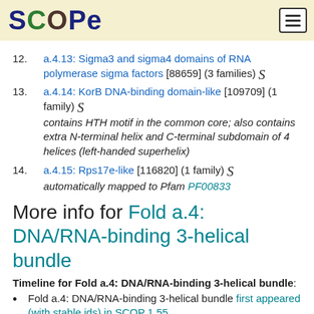SCOPe
12. a.4.13: Sigma3 and sigma4 domains of RNA polymerase sigma factors [88659] (3 families) S
13. a.4.14: KorB DNA-binding domain-like [109709] (1 family) S contains HTH motif in the common core; also contains extra N-terminal helix and C-terminal subdomain of 4 helices (left-handed superhelix)
14. a.4.15: Rps17e-like [116820] (1 family) S automatically mapped to Pfam PF00833
More info for Fold a.4: DNA/RNA-binding 3-helical bundle
Timeline for Fold a.4: DNA/RNA-binding 3-helical bundle:
Fold a.4: DNA/RNA-binding 3-helical bundle first appeared (with stable ids) in SCOP 1.55
Fold a.4: DNA/RNA-binding 3-helical bundle appears in SCOPe 2.02
Fold a.4: DNA/RNA-binding 3-helical bundle appears in